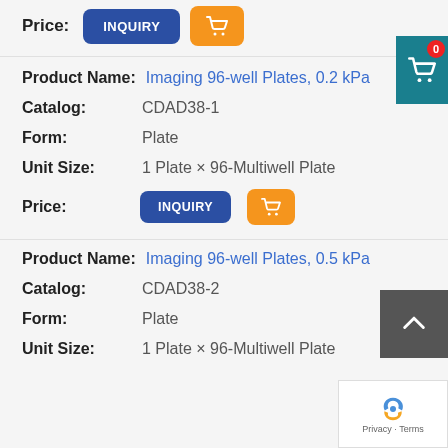Price: [INQUIRY button] [Cart button]
Product Name: Imaging 96-well Plates, 0.2 kPa
Catalog: CDAD38-1
Form: Plate
Unit Size: 1 Plate × 96-Multiwell Plate
Price: [INQUIRY button] [Cart button]
Product Name: Imaging 96-well Plates, 0.5 kPa
Catalog: CDAD38-2
Form: Plate
Unit Size: 1 Plate × 96-Multiwell Plate